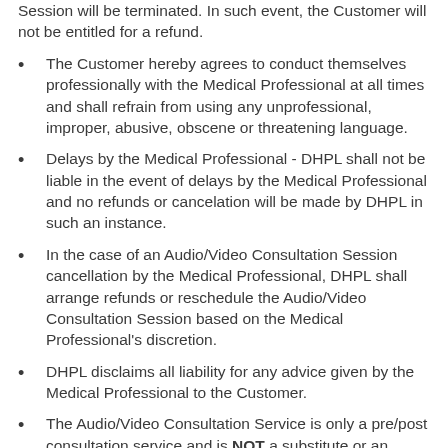Session will be terminated. In such event, the Customer will not be entitled for a refund.
The Customer hereby agrees to conduct themselves professionally with the Medical Professional at all times and shall refrain from using any unprofessional, improper, abusive, obscene or threatening language.
Delays by the Medical Professional - DHPL shall not be liable in the event of delays by the Medical Professional and no refunds or cancelation will be made by DHPL in such an instance.
In the case of an Audio/Video Consultation Session cancellation by the Medical Professional, DHPL shall arrange refunds or reschedule the Audio/Video Consultation Session based on the Medical Professional's discretion.
DHPL disclaims all liability for any advice given by the Medical Professional to the Customer.
The Audio/Video Consultation Service is only a pre/post consultation service and is NOT a substitute or an alternate to a physical consultation.